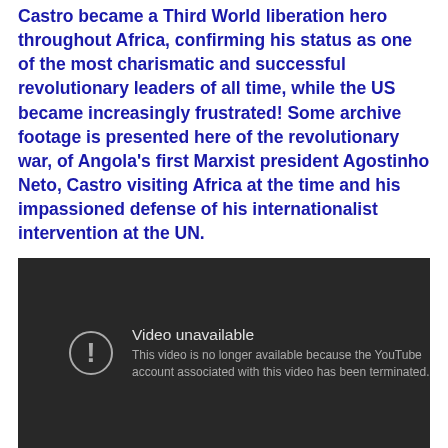Castro became a Third World liberation hero throughout Africa, confirming his status as one of the most charismatic and successful revolutionary leaders of all time, while the US became increasingly frustrated! Some archive footage is presented here of the revolutionary war, of Angola's first Marxist president Agostinho Neto, Castro visiting Africa at the time and his impassioned defense of his internationalist intervention at the UN.
[Figure (screenshot): Embedded YouTube video player showing 'Video unavailable' error message. The player has a dark background with an exclamation mark icon and text: 'Video unavailable. This video is no longer available because the YouTube account associated with this video has been terminated.']